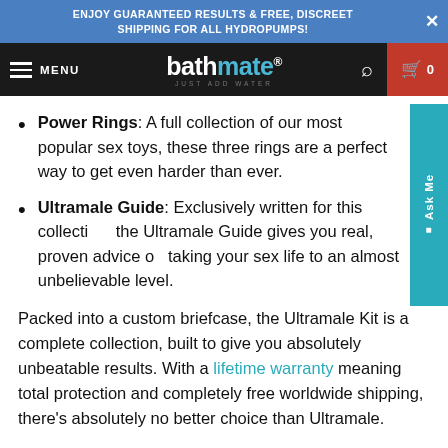ENJOY GUARANTEED RESULTS & FREE, DISCREET SHIPPING FOR ALL HYDROPUMPS!
bathmate® JUST ADD WATER — MENU — cart 0
Power Rings: A full collection of our most popular sex toys, these three rings are a perfect way to get even harder than ever.
Ultramale Guide: Exclusively written for this collection, the Ultramale Guide gives you real, proven advice on taking your sex life to an almost unbelievable level.
Packed into a custom briefcase, the Ultramale Kit is a complete collection, built to give you absolutely unbeatable results. With a lifetime warranty meaning total protection and completely free worldwide shipping, there's absolutely no better choice than Ultramale.
As with all our pumps, the Ultramale Kit is completely protected - for 60 days after you buy, you'll be able